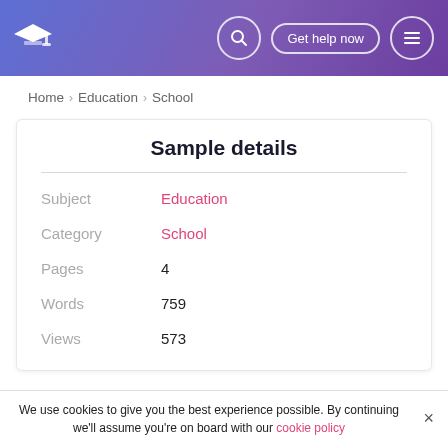Navigation header with logo, search, Get help now button, and menu icon
Home > Education > School
Sample details
| Field | Value |
| --- | --- |
| Subject | Education |
| Category | School |
| Pages | 4 |
| Words | 759 |
| Views | 573 |
We use cookies to give you the best experience possible. By continuing we'll assume you're on board with our cookie policy